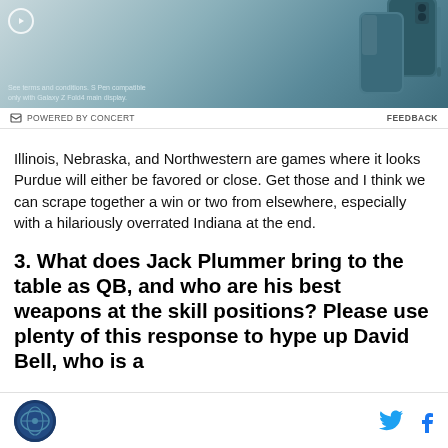[Figure (photo): Advertisement banner showing Samsung Galaxy Z Fold4 smartphone in teal/blue color against a gradient background, with a play button icon in the top left corner and fine print text at the bottom left.]
⊂ POWERED BY CONCERT    FEEDBACK
Illinois, Nebraska, and Northwestern are games where it looks Purdue will either be favored or close. Get those and I think we can scrape together a win or two from elsewhere, especially with a hilariously overrated Indiana at the end.
3. What does Jack Plummer bring to the table as QB, and who are his best weapons at the skill positions? Please use plenty of this response to hype up David Bell, who is a